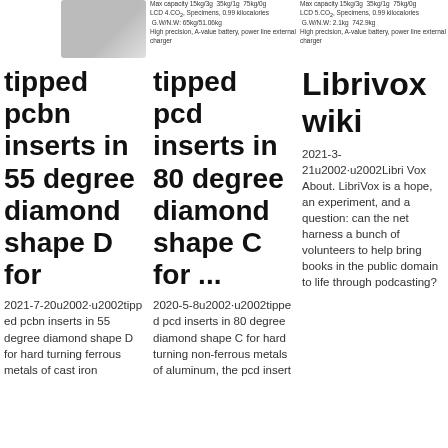[Figure (other): Partial product image top left, cropped]
Max capacity 15kg/3g   35kg/1g   75kg/0g
LCD 4.CO2, Specimens, 0.99 kilocalories   G.W/N.W: 65kg/51.06kg
High precision, A-value battery, power line external charger
Max capacity 15kg/3g   35kg/1g   75kg/0g
LCD 5.CO2, Specimens, 0.99 kilocalories   G.W/N.W: 2.1kg   742.9kg
High precision, A-value battery, power line external charger
tipped pcbn inserts in 55 degree diamond shape D for
2021-7-20u2002·u2002tipped pcbn inserts in 55 degree diamond shape D for hard turning ferrous metals of cast iron
tipped pcd inserts in 80 degree diamond shape C for ...
2020-5-8u2002·u2002tipped pcd inserts in 80 degree diamond shape C for hard turning non-ferrous metals of aluminum, the pcd insert
Librivox wiki
2021-3-21u2002·u2002LibriVox About. LibriVox is a hope, an experiment, and a question: can the net harness a bunch of volunteers to help bring books in the public domain to life through podcasting?